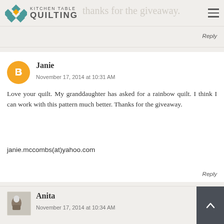Kitchen Table Quilting
November 17, 2014 at 10:29 AM
Thanks for the giveaway.
Reply
Janie
November 17, 2014 at 10:31 AM
Love your quilt. My granddaughter has asked for a rainbow quilt. I think I can work with this pattern much better. Thanks for the giveaway.
janie.mccombs(at)yahoo.com
Reply
Anita
November 17, 2014 at 10:34 AM